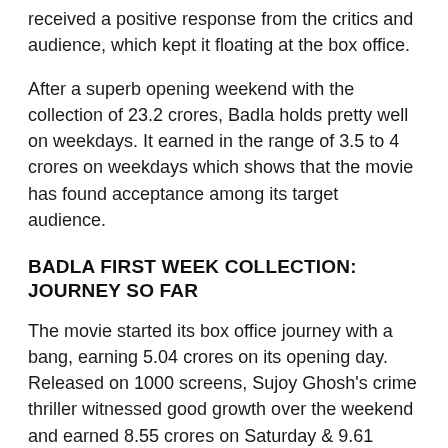received a positive response from the critics and audience, which kept it floating at the box office.
After a superb opening weekend with the collection of 23.2 crores, Badla holds pretty well on weekdays. It earned in the range of 3.5 to 4 crores on weekdays which shows that the movie has found acceptance among its target audience.
BADLA FIRST WEEK COLLECTION: JOURNEY SO FAR
The movie started its box office journey with a bang, earning 5.04 crores on its opening day. Released on 1000 screens, Sujoy Ghosh's crime thriller witnessed good growth over the weekend and earned 8.55 crores on Saturday & 9.61 crores on Sunday.
After a superb opening weekend, Badla maintained a good pace throughout the weekdays. It earned 3.75 crores on Monday, 3.85 crores on Tuesday and 3.55 crores on